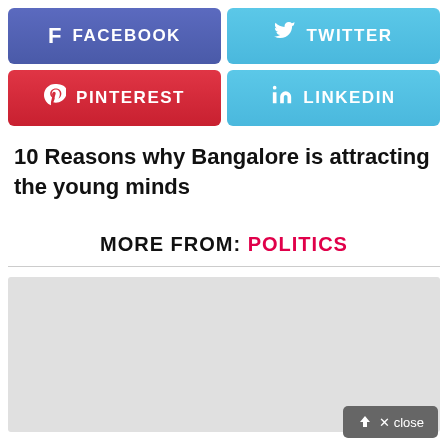[Figure (screenshot): Social media share buttons: Facebook (blue-purple), Twitter (light blue), Pinterest (red), LinkedIn (light blue)]
10 Reasons why Bangalore is attracting the young minds
MORE FROM: POLITICS
[Figure (other): Light gray placeholder image rectangle]